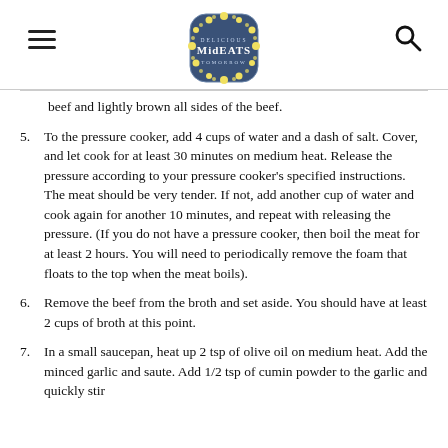MidEATS logo with hamburger menu and search icon
beef and lightly brown all sides of the beef.
5. To the pressure cooker, add 4 cups of water and a dash of salt. Cover, and let cook for at least 30 minutes on medium heat. Release the pressure according to your pressure cooker’s specified instructions. The meat should be very tender. If not, add another cup of water and cook again for another 10 minutes, and repeat with releasing the pressure. (If you do not have a pressure cooker, then boil the meat for at least 2 hours. You will need to periodically remove the foam that floats to the top when the meat boils).
6. Remove the beef from the broth and set aside. You should have at least 2 cups of broth at this point.
7. In a small saucepan, heat up 2 tsp of olive oil on medium heat. Add the minced garlic and saute. Add 1/2 tsp of cumin powder to the garlic and quickly stir